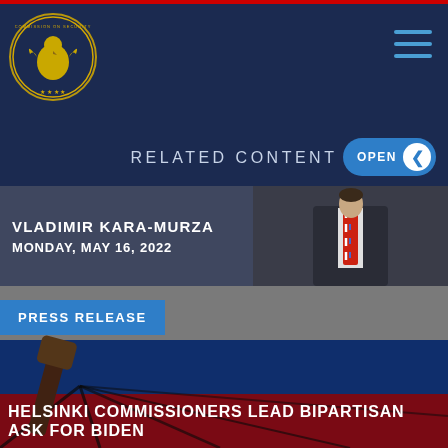[Figure (logo): Commission on Security and Cooperation in Europe seal/logo, circular gold eagle emblem on dark navy background]
RELATED CONTENT
OPEN
VLADIMIR KARA-MURZA
MONDAY, MAY 16, 2022
[Figure (photo): Man in dark suit with decorative red, white and blue tie]
PRESS RELEASE
[Figure (photo): Close-up of a gavel resting on a Russian flag (white, blue, red stripes), dark dramatic lighting]
HELSINKI COMMISSIONERS LEAD BIPARTISAN ASK FOR BIDEN